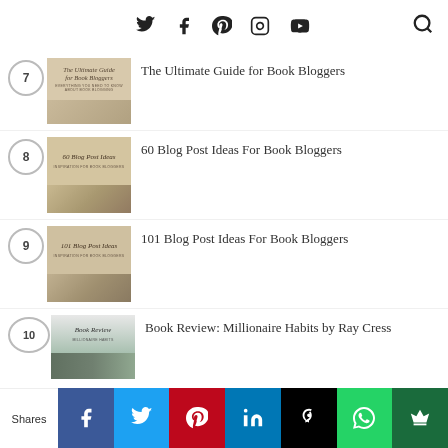Social media icons: Twitter, Facebook, Pinterest, Instagram, YouTube, Search
7 The Ultimate Guide for Book Bloggers
8 60 Blog Post Ideas For Book Bloggers
9 101 Blog Post Ideas For Book Bloggers
10 Book Review: Millionaire Habits by Ray Cress
Shares | Facebook | Twitter | Pinterest | LinkedIn | Buffer | WhatsApp | Crown